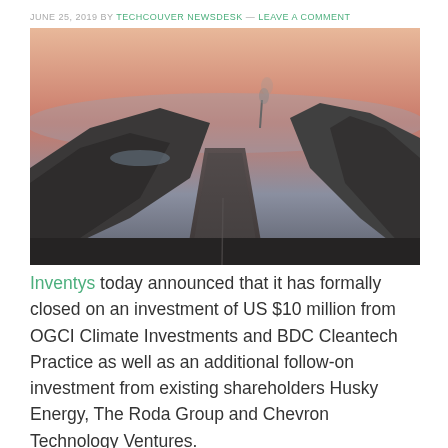JUNE 25, 2019 BY TECHCOUVER NEWSDESK — LEAVE A COMMENT
[Figure (photo): Aerial view of a mining or oil sands site with dark earth mounds flanking a dirt road, a smokestack in the background, and a warm pinkish-orange sunset sky.]
Inventys today announced that it has formally closed on an investment of US $10 million from OGCI Climate Investments and BDC Cleantech Practice as well as an additional follow-on investment from existing shareholders Husky Energy, The Roda Group and Chevron Technology Ventures.